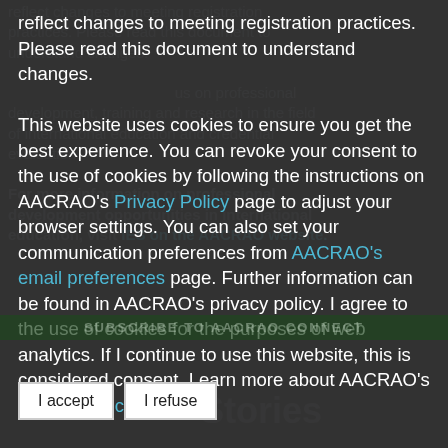reflect changes to meeting registration practices. Please read this document to understand changes. This website uses cookies to ensure you get the best experience. You can revoke your consent to the use of cookies by following the instructions on AACRAO's Privacy Policy page to adjust your browser settings. You can also set your communication preferences from AACRAO's email preferences page. Further information can be found in AACRAO's privacy policy. I agree to the use of cookies for the purposes of web analytics. If I continue to use this website, this is considered consent. Learn more about AACRAO's Privacy Policy.
For more information on professional development opportunities in international education, visit IES on the AACRAO website.
SUBSCRIBE TO AACRAO CONNECT
Stories
I accept
I refuse